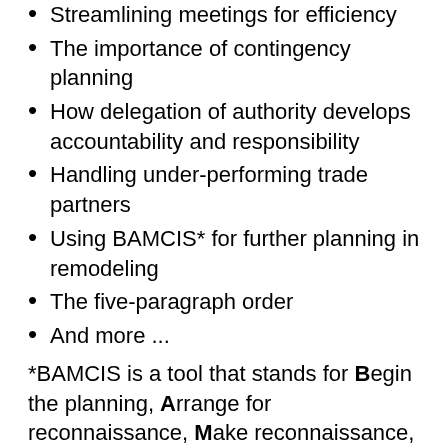Streamlining meetings for efficiency
The importance of contingency planning
How delegation of authority develops accountability and responsibility
Handling under-performing trade partners
Using BAMCIS* for further planning in remodeling
The five-paragraph order
And more ...
*BAMCIS is a tool that stands for Begin the planning, Arrange for reconnaissance, Make reconnaissance,